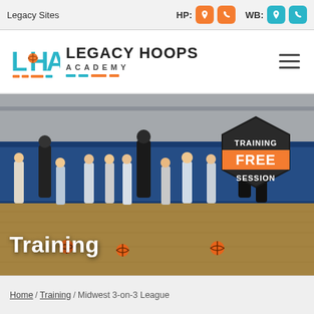Legacy Sites  HP: [location] [phone]  WB: [location] [phone]
[Figure (logo): Legacy Hoops Academy logo with teal LHA letters, basketball icon, and orange/teal underline dashes]
[Figure (photo): Group of youth basketball players and coaches gathered on an indoor basketball court with blue padded walls. A hexagonal badge in the upper right reads TRAINING FREE SESSION in orange and white.]
Training
Home / Training / Midwest 3-on-3 League